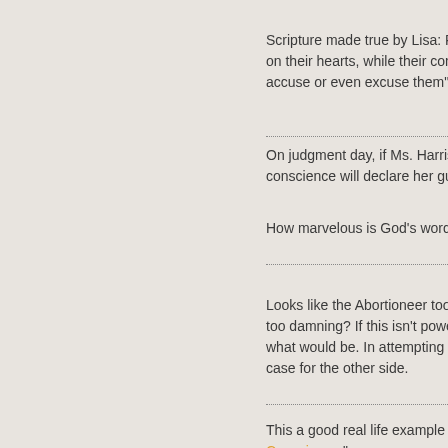Scripture made true by Lisa: Ron on their hearts, while their conscience accuse or even excuse them"
On judgment day, if Ms. Harris ha conscience will declare her guilty
How marvelous is God's word - s
Looks like the Abortioneer took th too damning? If this isn't powerful what would be. In attempting to s case for the other side.
This a good real life example of w Conscience."